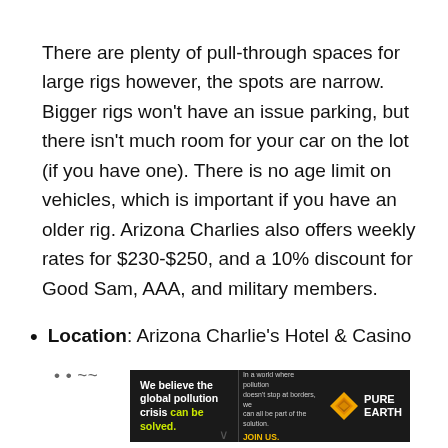There are plenty of pull-through spaces for large rigs however, the spots are narrow. Bigger rigs won't have an issue parking, but there isn't much room for your car on the lot (if you have one). There is no age limit on vehicles, which is important if you have an older rig. Arizona Charlies also offers weekly rates for $230-$250, and a 10% discount for Good Sam, AAA, and military members.
Location: Arizona Charlie's Hotel & Casino
[Figure (other): Advertisement banner for Pure Earth organization with dark background. Left section reads 'We believe the global pollution crisis can be solved.' in white and yellow-green text. Middle section reads 'In a world where pollution doesn't stop at borders, we can all be part of the solution. JOIN US.' Right section shows Pure Earth logo with orange diamond icon.]